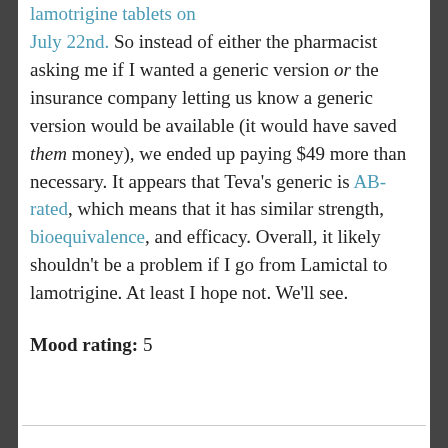lamotrigine tablets on July 22nd. So instead of either the pharmacist asking me if I wanted a generic version or the insurance company letting us know a generic version would be available (it would have saved them money), we ended up paying $49 more than necessary. It appears that Teva's generic is AB-rated, which means that it has similar strength, bioequivalence, and efficacy. Overall, it likely shouldn't be a problem if I go from Lamictal to lamotrigine. At least I hope not. We'll see.
Mood rating: 5